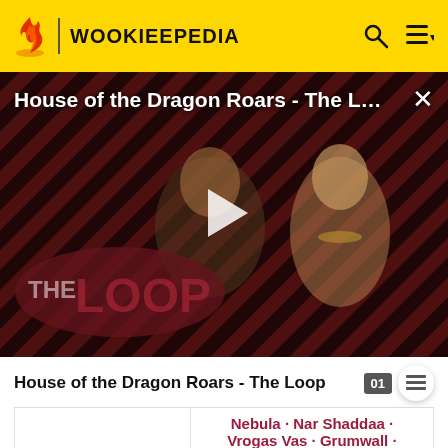WOOKIEEPEDIA
[Figure (screenshot): Video thumbnail for 'House of the Dragon Roars - The L...' with two characters from the show, diagonal stripe background in dark red and black, The Loop badge, and a play button overlay.]
House of the Dragon Roars - The Loop
|  | Nebula · Nar Shaddaa · Vrogas Vas · Grumwall · Jedha (III) · Mon Cala (I) |
| 1 ABY | Mako-Ta |